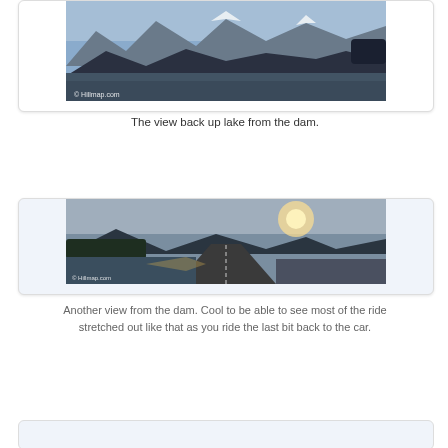[Figure (photo): Panoramic view of a mountain lake with peaks in the background, taken from the dam. Watermark: © Hillmap.com]
The view back up lake from the dam.
[Figure (photo): Panoramic view from the dam showing a road and lake with sun breaking through clouds and forested hills. Watermark: © Hillmap.com]
Another view from the dam. Cool to be able to see most of the ride stretched out like that as you ride the last bit back to the car.
A few more on flickr.